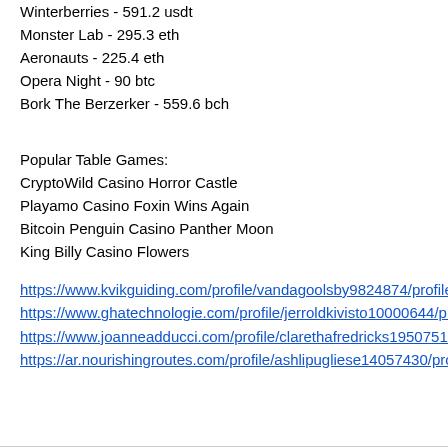Winterberries - 591.2 usdt
Monster Lab - 295.3 eth
Aeronauts - 225.4 eth
Opera Night - 90 btc
Bork The Berzerker - 559.6 bch
Popular Table Games:
CryptoWild Casino Horror Castle
Playamo Casino Foxin Wins Again
Bitcoin Penguin Casino Panther Moon
King Billy Casino Flowers
https://www.kvikguiding.com/profile/vandagoolsby9824874/profile https://www.ghatechnologie.com/profile/jerroldkivisto10000644/profile https://www.joanneadducci.com/profile/clarethafredricks19507511/profile https://ar.nourishingroutes.com/profile/ashlipugliese14057430/profile